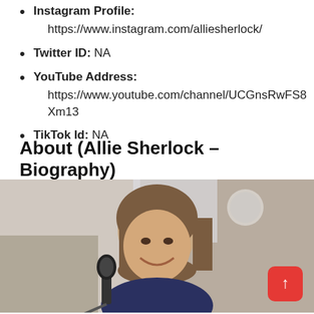Instagram Profile: https://www.instagram.com/alliesherlock/
Twitter ID: NA
YouTube Address: https://www.youtube.com/channel/UCGnsRwFS8Xm13
TikTok Id: NA
About (Allie Sherlock – Biography)
[Figure (photo): Photo of Allie Sherlock smiling at a microphone, with a red back-to-top button overlay in the bottom-right corner]